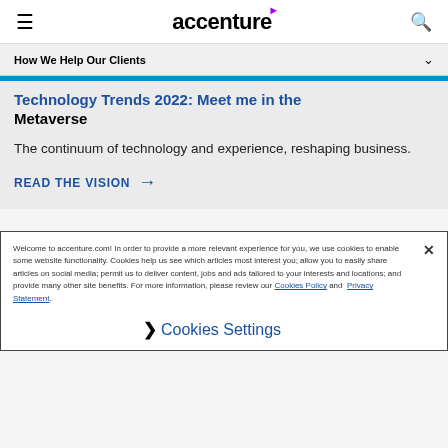accenture
How We Help Our Clients
Technology Trends 2022: Meet me in the Metaverse
The continuum of technology and experience, reshaping business.
READ THE VISION →
Welcome to accenture.com! In order to provide a more relevant experience for you, we use cookies to enable some website functionality. Cookies help us see which articles most interest you; allow you to easily share articles on social media; permit us to deliver content, jobs and ads tailored to your interests and locations; and provide many other site benefits. For more information, please review our Cookies Policy and Privacy Statement.
❯ Cookies Settings